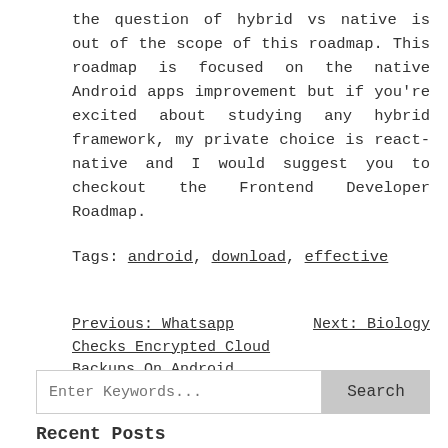the question of hybrid vs native is out of the scope of this roadmap. This roadmap is focused on the native Android apps improvement but if you're excited about studying any hybrid framework, my private choice is react-native and I would suggest you to checkout the Frontend Developer Roadmap.
Tags: android, download, effective
Previous: Whatsapp Checks Encrypted Cloud Backups On Android
Next: Biology
Enter Keywords... Search
Recent Posts